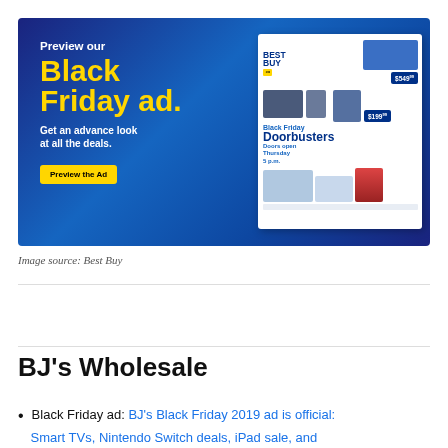[Figure (photo): Best Buy Black Friday ad preview banner. Dark blue background with yellow text reading 'Preview our Black Friday ad. Get an advance look at all the deals.' with a yellow 'Preview the Ad' button. On the right side is a Best Buy circular showing Black Friday Doorbusters with product images and prices like $549 and $199.]
Image source: Best Buy
BJ's Wholesale
Black Friday ad: BJ's Black Friday 2019 ad is official: Smart TVs, Nintendo Switch deals, iPad sale, and
Smart TVs, Nintendo Switch deals, iPad sale, and